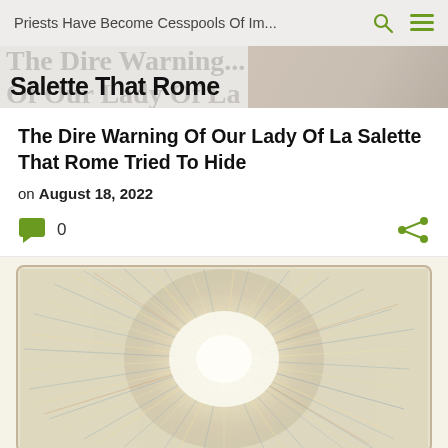Priests Have Become Cesspools Of Im...
The Dire Warning Of Our Lady Of La Salette That Rome Tried To Hide
on August 18, 2022
[Figure (photo): Radiant sunburst illustration with cream, blue, and orange strokes on aged paper, framed with rounded corners]
0 comments, 1 share